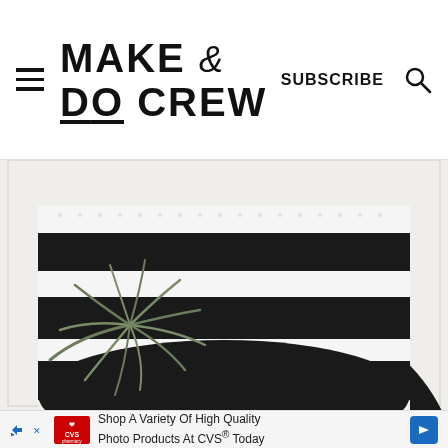Make & Do Crew — SUBSCRIBE
[Figure (photo): A black and white striped crochet bag photographed from above on a white surface, with an air plant (tillandsia) placed near the bottom of the bag.]
Shop A Variety Of High Quality Photo Products At CVS® Today